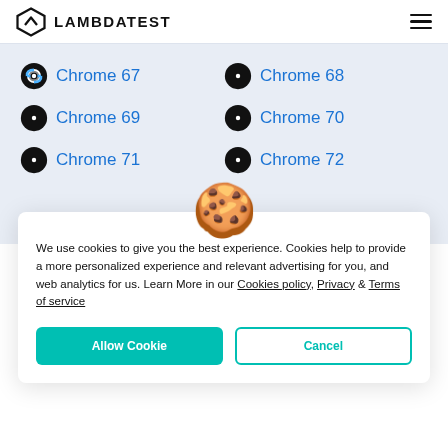LAMBDATEST
Chrome 67
Chrome 68
Chrome 69
Chrome 70
Chrome 71
Chrome 72
We use cookies to give you the best experience. Cookies help to provide a more personalized experience and relevant advertising for you, and web analytics for us. Learn More in our Cookies policy, Privacy & Terms of service
Allow Cookie | Cancel